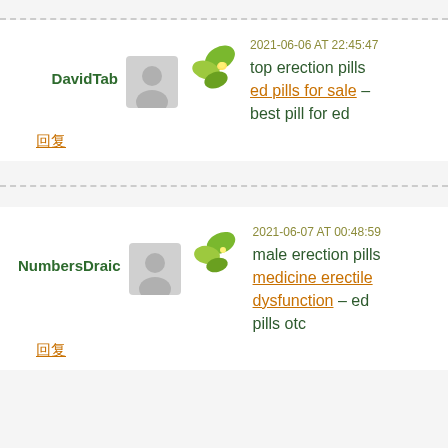2021-06-06 AT 22:45:47
DavidTab
top erection pills ed pills for sale – best pill for ed
回复
2021-06-07 AT 00:48:59
NumbersDraic
male erection pills medicine erectile dysfunction – ed pills otc
回复